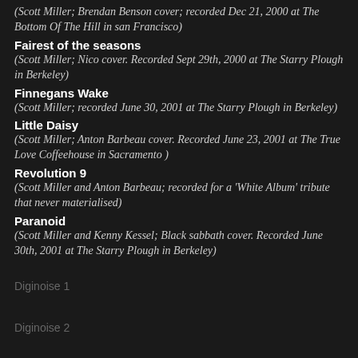(Scott Miller; Brendan Benson cover; recorded Dec 21, 2000 at The Bottom Of The Hill in san Francisco)
Fairest of the seasons
(Scott Miller; Nico cover. Recorded Sept 29th, 2000 at The Starry Plough in Berkeley)
Finnegans Wake
(Scott Miller; recorded June 30, 2001 at The Starry Plough in Berkeley)
Little Daisy
(Scott Miller; Anton Barbeau cover. Recorded June 23, 2001 at The True Love Coffeehouse in Sacramento )
Revolution 9
(Scott Miller and Anton Barbeau; recorded for a 'White Album' tribute that never materialised)
Paranoid
(Scott Miller and Kenny Kessel; Black sabbath cover. Recorded June 30th, 2001 at The Starry Plough in Berkeley)
Diginoise 1
Diginoise 2